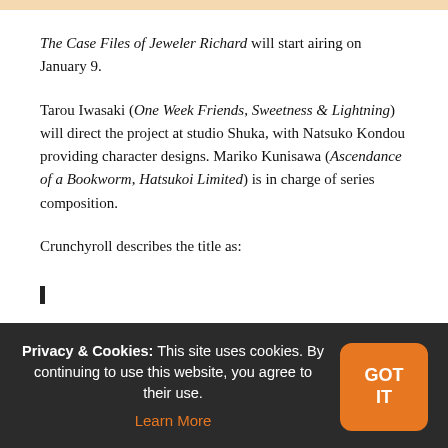The Case Files of Jeweler Richard will start airing on January 9.
Tarou Iwasaki (One Week Friends, Sweetness & Lightning) will direct the project at studio Shuka, with Natsuko Kondou providing character designs. Mariko Kunisawa (Ascendance of a Bookworm, Hatsukoi Limited) is in charge of series composition.
Crunchyroll describes the title as:
[blockquote begins — partially obscured by cookie banner]
Privacy & Cookies: This site uses cookies. By continuing to use this website, you agree to their use. Learn More | GOT IT